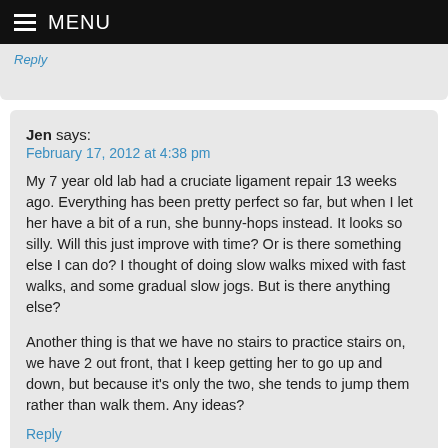MENU
Reply
Jen says:
February 17, 2012 at 4:38 pm
My 7 year old lab had a cruciate ligament repair 13 weeks ago. Everything has been pretty perfect so far, but when I let her have a bit of a run, she bunny-hops instead. It looks so silly. Will this just improve with time? Or is there something else I can do? I thought of doing slow walks mixed with fast walks, and some gradual slow jogs. But is there anything else?

Another thing is that we have no stairs to practice stairs on, we have 2 out front, that I keep getting her to go up and down, but because it's only the two, she tends to jump them rather than walk them. Any ideas?
Reply